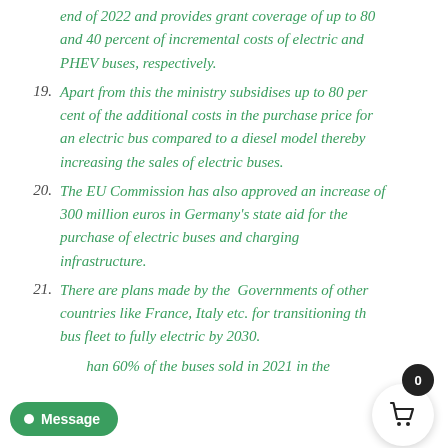end of 2022 and provides grant coverage of up to 80 and 40 percent of incremental costs of electric and PHEV buses, respectively.
19. Apart from this the ministry subsidises up to 80 per cent of the additional costs in the purchase price for an electric bus compared to a diesel model thereby increasing the sales of electric buses.
20. The EU Commission has also approved an increase of 300 million euros in Germany's state aid for the purchase of electric buses and charging infrastructure.
21. There are plans made by the Governments of other countries like France, Italy etc. for transitioning the bus fleet to fully electric by 2030.
...han 60% of the buses sold in 2021 in the